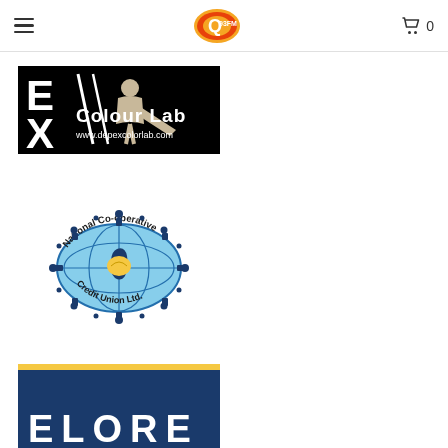Navigation bar with hamburger menu, Q93FM logo, and shopping cart (0)
[Figure (logo): Depex Colour Lab logo: black background with stylized DE/X text and figure, text reads 'Colour Lab' and 'www.depexcolorlab.com']
[Figure (logo): National Co-operative Credit Union Ltd. circular logo with globe, map of Barbados, and chain of figures around the border]
[Figure (logo): Partially visible blue and yellow banner logo at bottom of page, truncated]